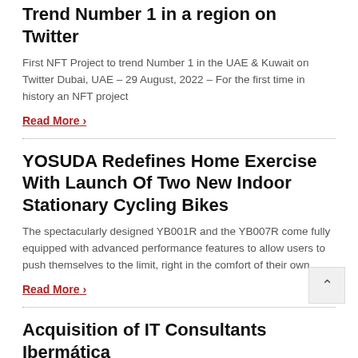Trend Number 1 in a region on Twitter
First NFT Project to trend Number 1 in the UAE & Kuwait on Twitter Dubai, UAE – 29 August, 2022 – For the first time in history an NFT project
Read More ›
YOSUDA Redefines Home Exercise With Launch Of Two New Indoor Stationary Cycling Bikes
The spectacularly designed YB001R and the YB007R come fully equipped with advanced performance features to allow users to push themselves to the limit, right in the comfort of their own
Read More ›
Acquisition of IT Consultants Ibermática